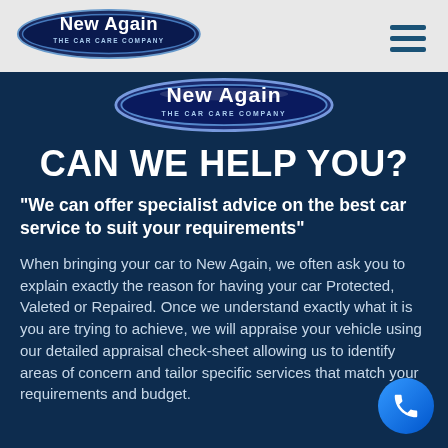[Figure (logo): New Again - The Car Care Company logo in navigation bar]
[Figure (logo): New Again - The Car Care Company large logo banner on dark blue background]
CAN WE HELP YOU?
"We can offer specialist advice on the best car service to suit your requirements"
When bringing your car to New Again, we often ask you to explain exactly the reason for having your car Protected, Valeted or Repaired. Once we understand exactly what it is you are trying to achieve, we will appraise your vehicle using our detailed appraisal check-sheet allowing us to identify areas of concern and tailor specific services that match your requirements and budget.